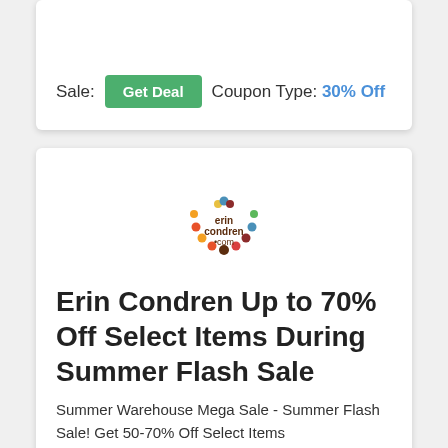Sale:  Get Deal  Coupon Type: 30% Off
[Figure (logo): Erin Condren .com logo with colorful dots arranged in an arch]
Erin Condren Up to 70% Off Select Items During Summer Flash Sale
Summer Warehouse Mega Sale - Summer Flash Sale! Get 50-70% Off Select Items
Sale:  Get Deal  Coupon Type: 70% Off
[Figure (logo): Erin Condren .com logo with colorful dots arranged in an arch]